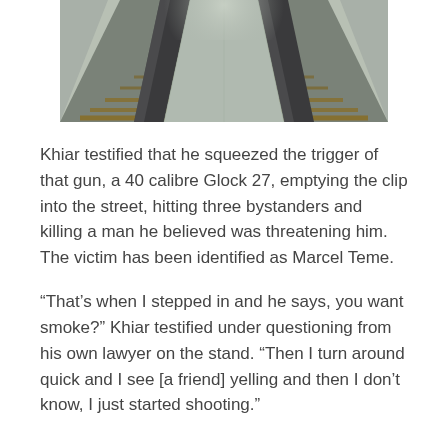[Figure (photo): Photograph showing railway tracks receding into the distance, viewed from above. The tracks are set in a concrete surface with wooden sleepers visible.]
Khiar testified that he squeezed the trigger of that gun, a 40 calibre Glock 27, emptying the clip into the street, hitting three bystanders and killing a man he believed was threatening him. The victim has been identified as Marcel Teme.
“That’s when I stepped in and he says, you want smoke?” Khiar testified under questioning from his own lawyer on the stand. “Then I turn around quick and I see [a friend] yelling and then I don’t know, I just started shooting.”